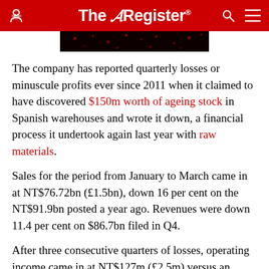The Register
[Figure (photo): Dark image with red dots/particles, partial view of an article header image]
The company has reported quarterly losses or minuscule profits ever since 2011 when it claimed to have discovered $150m worth of ageing stock in Spanish warehouses and wrote it down, a financial process it undertook again last year with raw materials.
Sales for the period from January to March came in at NT$76.72bn (£1.5bn), down 16 per cent on the NT$91.9bn posted a year ago. Revenues were down 11.4 per cent on $86.7bn filed in Q4.
After three consecutive quarters of losses, operating income came in at NT$127m (£2.5m) versus an operating loss of NT$8.2bn (£166m) for Q4 and higher